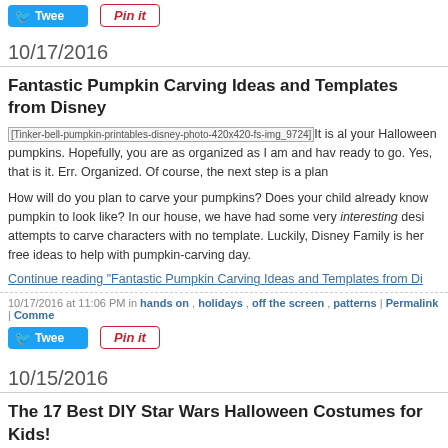[Figure (other): Tweet and Pin it buttons at top of page]
10/17/2016
Fantastic Pumpkin Carving Ideas and Templates from Disney
It is al... your Halloween pumpkins. Hopefully, you are as organized as I am and hav... ready to go. Yes, that is it. Err. Organized. Of course, the next step is a plan...
How will do you plan to carve your pumpkins? Does your child already know pumpkin to look like? In our house, we have had some very interesting desi... attempts to carve characters with no template. Luckily, Disney Family is her... free ideas to help with pumpkin-carving day.
Continue reading "Fantastic Pumpkin Carving Ideas and Templates from Di..."
10/17/2016 at 11:06 PM in hands on, holidays, off the screen, patterns | Permalink | Comme...
[Figure (other): Tweet and Pin it buttons below post]
10/15/2016
The 17 Best DIY Star Wars Halloween Costumes for Kids!